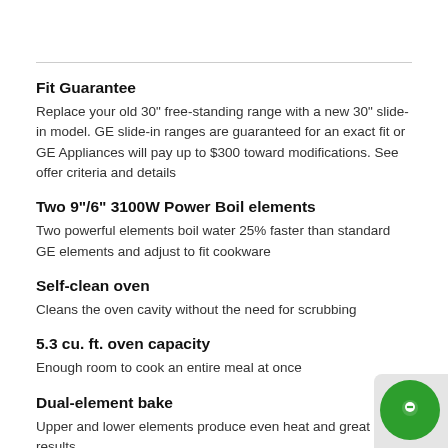Fit Guarantee
Replace your old 30" free-standing range with a new 30" slide-in model. GE slide-in ranges are guaranteed for an exact fit or GE Appliances will pay up to $300 toward modifications. See offer criteria and details
Two 9"/6" 3100W Power Boil elements
Two powerful elements boil water 25% faster than standard GE elements and adjust to fit cookware
Self-clean oven
Cleans the oven cavity without the need for scrubbing
5.3 cu. ft. oven capacity
Enough room to cook an entire meal at once
Dual-element bake
Upper and lower elements produce even heat and great results